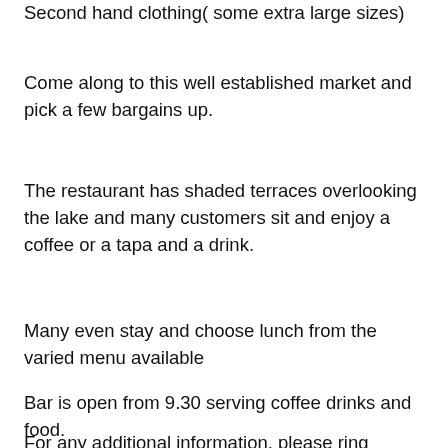Second hand clothing( some extra large sizes)
Come along to this well established market and pick a few bargains up.
The restaurant has shaded terraces overlooking the lake and many customers sit and enjoy a coffee or a tapa and a drink.
Many even stay and choose lunch from the varied menu available
Bar is open from 9.30 serving coffee drinks and food.
For any additional information, please ring Sandy